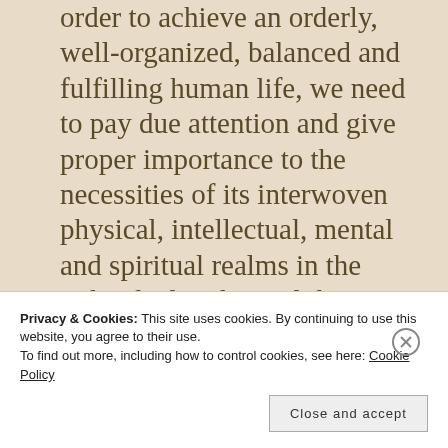order to achieve an orderly, well-organized, balanced and fulfilling human life, we need to pay due attention and give proper importance to the necessities of its interwoven physical, intellectual, mental and spiritual realms in the individual and social domains. A human being consists of a marvellous amalgam of matter and consciousness force.
Privacy & Cookies: This site uses cookies. By continuing to use this website, you agree to their use.
To find out more, including how to control cookies, see here: Cookie Policy
Close and accept